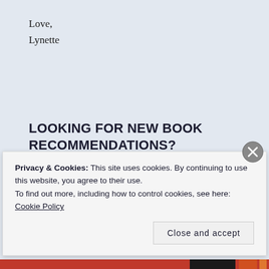Love,
Lynette
LOOKING FOR NEW BOOK RECOMMENDATIONS?
Stay updated here! Click to follow my blog and receive
Privacy & Cookies: This site uses cookies. By continuing to use this website, you agree to their use.
To find out more, including how to control cookies, see here: Cookie Policy
Close and accept